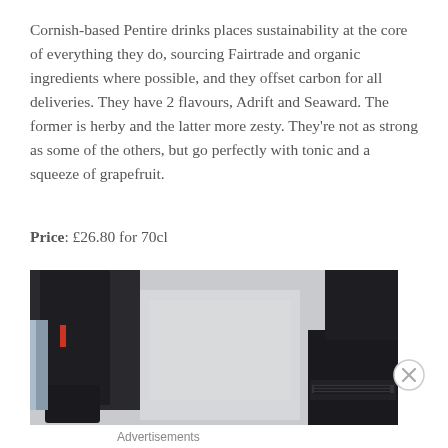Cornish-based Pentire drinks places sustainability at the core of everything they do, sourcing Fairtrade and organic ingredients where possible, and they offset carbon for all deliveries. They have 2 flavours, Adrift and Seaward. The former is herby and the latter more zesty. They're not as strong as some of the others, but go perfectly with tonic and a squeeze of grapefruit.
Price: £26.80 for 70cl
[Figure (photo): Photo showing lower body of a person wearing dark clothing and boots, standing near what appears to be a vehicle. Image appears to be an advertisement.]
Advertisements